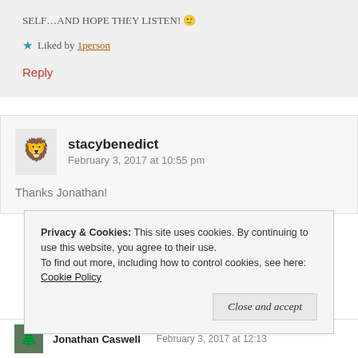SELF…AND HOPE THEY LISTEN! 🙂
★ Liked by 1person
Reply
stacybenedict February 3, 2017 at 10:55 pm
Thanks Jonathan!
Privacy & Cookies: This site uses cookies. By continuing to use this website, you agree to their use. To find out more, including how to control cookies, see here: Cookie Policy
Close and accept
Jonathan Caswell February 3, 2017 at 12:13